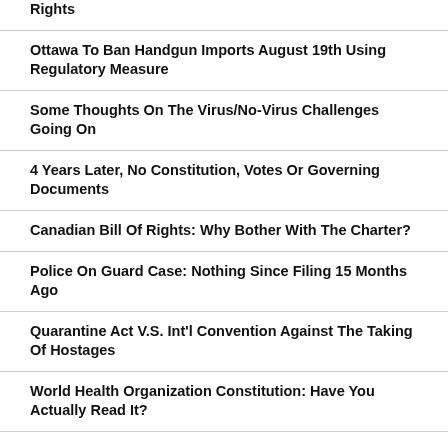Rights
Ottawa To Ban Handgun Imports August 19th Using Regulatory Measure
Some Thoughts On The Virus/No-Virus Challenges Going On
4 Years Later, No Constitution, Votes Or Governing Documents
Canadian Bill Of Rights: Why Bother With The Charter?
Police On Guard Case: Nothing Since Filing 15 Months Ago
Quarantine Act V.S. Int'l Convention Against The Taking Of Hostages
World Health Organization Constitution: Have You Actually Read It?